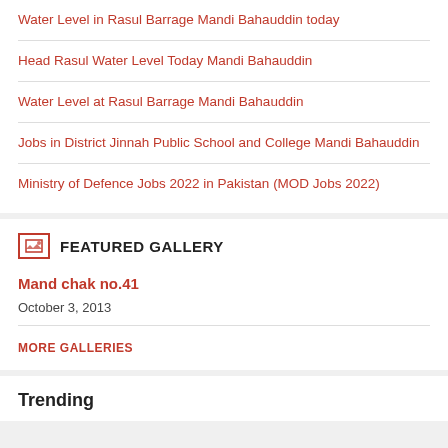Water Level in Rasul Barrage Mandi Bahauddin today
Head Rasul Water Level Today Mandi Bahauddin
Water Level at Rasul Barrage Mandi Bahauddin
Jobs in District Jinnah Public School and College Mandi Bahauddin
Ministry of Defence Jobs 2022 in Pakistan (MOD Jobs 2022)
FEATURED GALLERY
Mand chak no.41
October 3, 2013
MORE GALLERIES
Trending